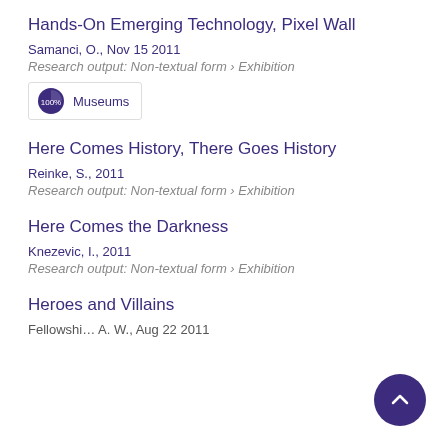Hands-On Emerging Technology, Pixel Wall
Samanci, O., Nov 15 2011
Research output: Non-textual form › Exhibition
100% Museums
Here Comes History, There Goes History
Reinke, S., 2011
Research output: Non-textual form › Exhibition
Here Comes the Darkness
Knezevic, I., 2011
Research output: Non-textual form › Exhibition
Heroes and Villains
Fellowshi… A. W., Aug 22 2011